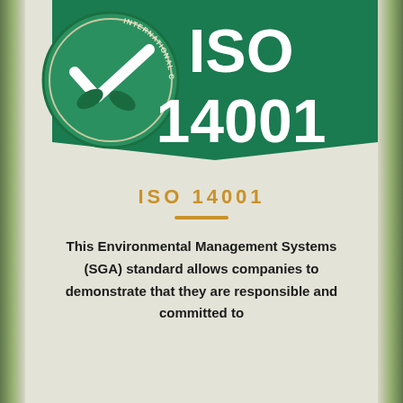[Figure (logo): ISO 14001 International Certifications logo: a green triangle/badge shape with a checkmark and leaves emblem on the left, and 'ISO 14001' in large white text on the right green background.]
ISO 14001
This Environmental Management Systems (SGA) standard allows companies to demonstrate that they are responsible and committed to